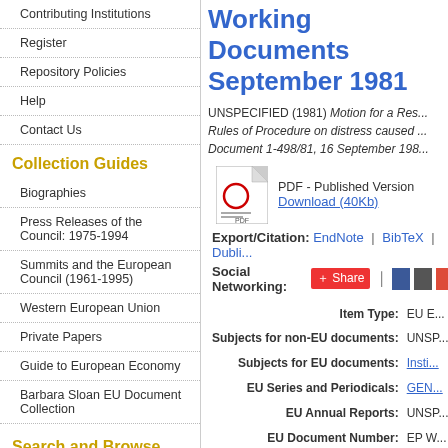Contributing Institutions
Register
Repository Policies
Help
Contact Us
Collection Guides
Biographies
Press Releases of the Council: 1975-1994
Summits and the European Council (1961-1995)
Western European Union
Private Papers
Guide to European Economy
Barbara Sloan EU Document Collection
Search and Browse
Working Documents September 1981
UNSPECIFIED (1981) Motion for a Res... Rules of Procedure on distress caused ... Document 1-498/81, 16 September 198...
[Figure (other): PDF icon with Download (40Kb) link and PDF - Published Version label]
Export/Citation: EndNote | BibTeX | Dubli...
Social Networking: Share | Facebook | Twitter | Google+
| Label | Value |
| --- | --- |
| Item Type: | EU E... |
| Subjects for non-EU documents: | UNSP... |
| Subjects for EU documents: | (link) |
| EU Series and Periodicals: | GEN... |
| EU Annual Reports: | UNSP... |
| EU Document Number: | EP W... |
| Institutional Author: | Euro... |
| Depositing User: | Phil... |